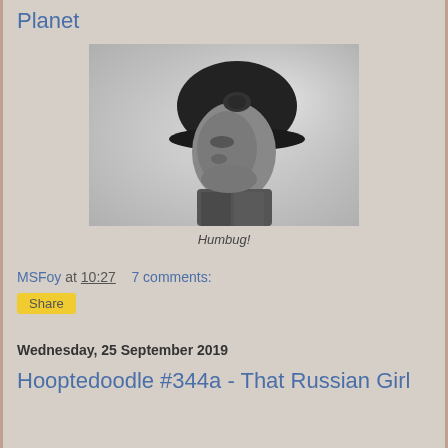Planet
[Figure (photo): Black and white photograph of a man wearing a military helmet, looking upward to the right, in profile/three-quarter view. The figure appears to be a military or political leader from mid-20th century.]
Humbug!
MSFoy at 10:27    7 comments:
Share
Wednesday, 25 September 2019
Hooptedoodle #344a - That Russian Girl